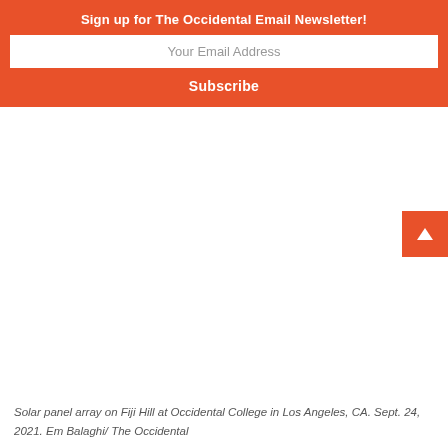Sign up for The Occidental Email Newsletter!
Your Email Address
Subscribe
Solar panel array on Fiji Hill at Occidental College in Los Angeles, CA. Sept. 24, 2021. Em Balaghi/ The Occidental